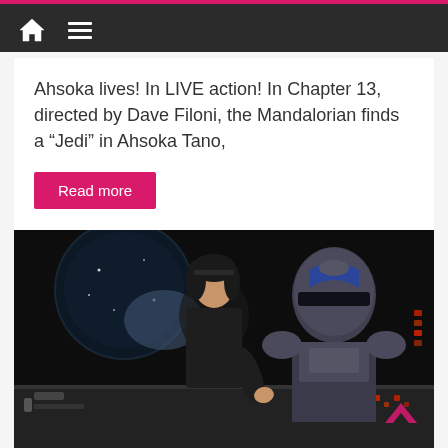Navigation bar with home and menu icons
Ahsoka lives! In LIVE action! In Chapter 13, directed by Dave Filoni, the Mandalorian finds a “Jedi” in Ahsoka Tano,
Read more
[Figure (photo): Scene from The Mandalorian showing a young woman leaning over a cockpit control panel next to a man in Mandalorian armor, set inside a spacecraft cockpit with space visible through a large circular viewport]